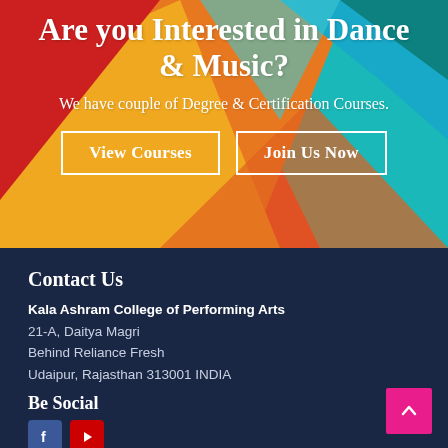[Figure (illustration): Colorful geometric polygon background in red, orange, yellow, and teal/cyan colors serving as hero banner background]
Are you Interested in Dance & Music?
We have couple of Degree & Certification Courses.
View Courses
Join Us Now
Contact Us
Kala Ashram College of Performing Arts
21-A, Daitya Magri
Behind Reliance Fresh
Udaipur, Rajasthan 313001 INDIA
Be Social